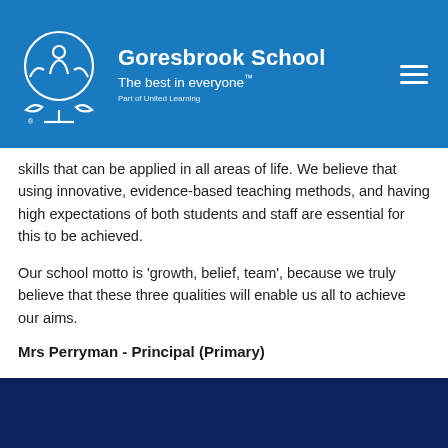Goresbrook School — The best in everyone™ — Part of United Learning
skills that can be applied in all areas of life. We believe that using innovative, evidence-based teaching methods, and having high expectations of both students and staff are essential for this to be achieved.
Our school motto is 'growth, belief, team', because we truly believe that these three qualities will enable us all to achieve our aims.
Mrs Perryman - Principal (Primary)
“The wisest mind has something yet to learn” George Santayana